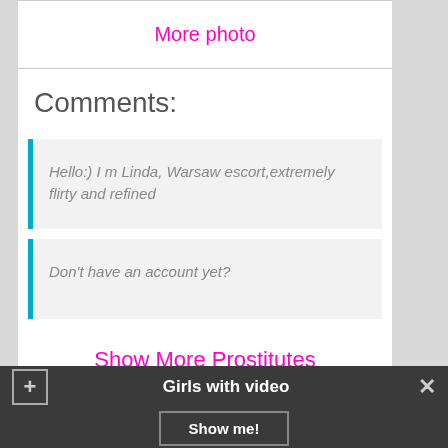More photo
Comments:
Hello:) I m Linda, Warsaw escort,extremely flirty and refined
Don't have an account yet?
Show More Prostitutes
Girls with video  Show me!